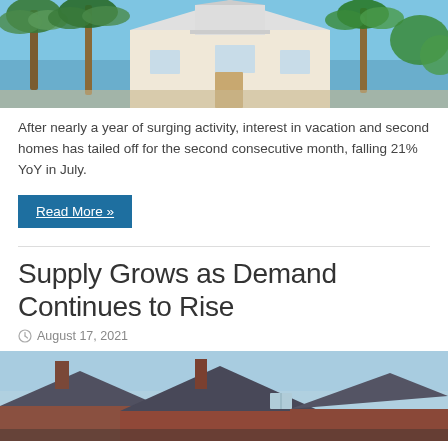[Figure (photo): Tropical vacation home with palm trees and white metal roof against blue sky]
After nearly a year of surging activity, interest in vacation and second homes has tailed off for the second consecutive month, falling 21% YoY in July.
Read More »
Supply Grows as Demand Continues to Rise
August 17, 2021
[Figure (photo): Rooftops of brick houses against blue sky]